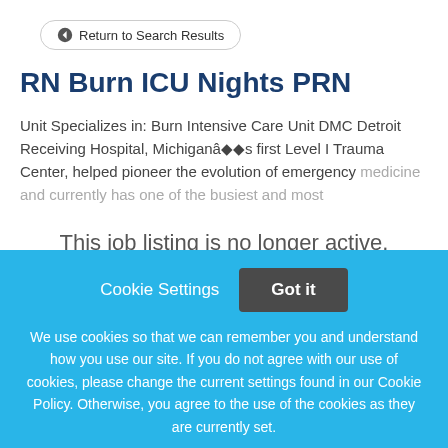← Return to Search Results
RN Burn ICU Nights PRN
Unit Specializes in: Burn Intensive Care Unit DMC Detroit Receiving Hospital, Michiganâs first Level I Trauma Center, helped pioneer the evolution of emergency medicine and currently has one of the busiest and most
This job listing is no longer active.
Cookie Settings
Got it
We use cookies so that we can remember you and understand how you use our site. If you do not agree with our use of cookies, please change the current settings found in our Cookie Policy. Otherwise, you agree to the use of the cookies as they are currently set.